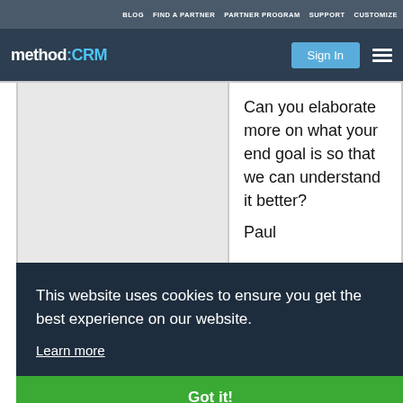BLOG  FIND A PARTNER  PARTNER PROGRAM  SUPPORT  CUSTOMIZE
method:CRM  Sign In
Can you elaborate more on what your end goal is so that we can understand it better?
Paul
This website uses cookies to ensure you get the best experience on our website.
Learn more
Got it!
Thank you for the